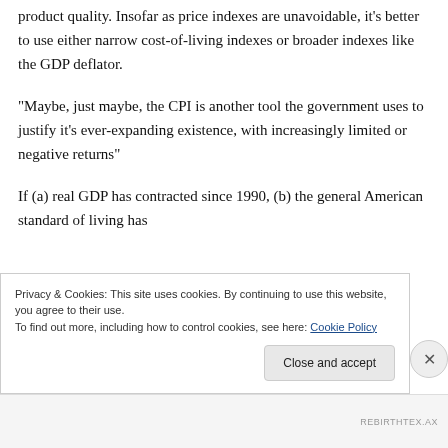product quality. Insofar as price indexes are unavoidable, it's better to use either narrow cost-of-living indexes or broader indexes like the GDP deflator.
“Maybe, just maybe, the CPI is another tool the government uses to justify it’s ever-expanding existence, with increasingly limited or negative returns”
If (a) real GDP has contracted since 1990, (b) the general American standard of living has
Privacy & Cookies: This site uses cookies. By continuing to use this website, you agree to their use.
To find out more, including how to control cookies, see here: Cookie Policy
Close and accept